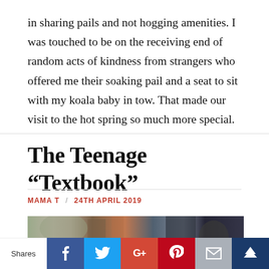in sharing pails and not hogging amenities. I was touched to be on the receiving end of random acts of kindness from strangers who offered me their soaking pail and a seat to sit with my koala baby in tow. That made our visit to the hot spring so much more special.
The Teenage “Textbook”
MAMA T / 24TH APRIL 2019
[Figure (photo): Blurred photo showing people or figures, cropped at top of article]
Shares